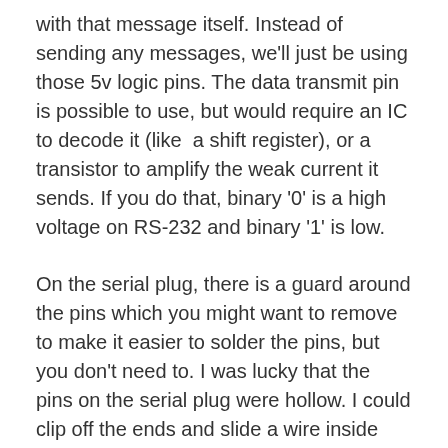with that message itself. Instead of sending any messages, we'll just be using those 5v logic pins. The data transmit pin is possible to use, but would require an IC to decode it (like a shift register), or a transistor to amplify the weak current it sends. If you do that, binary '0' is a high voltage on RS-232 and binary '1' is low.
On the serial plug, there is a guard around the pins which you might want to remove to make it easier to solder the pins, but you don't need to. I was lucky that the pins on the serial plug were hollow. I could clip off the ends and slide a wire inside them which held it in place as I soldered. Solder a wire to the DTR, RTS and ground pins. Solder one to the Transmit Data pin (TD) if you want to play around with that too. Since this part will not get hot when operating the circuit, you